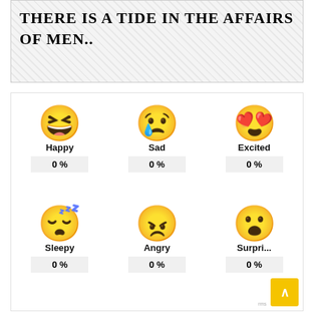THERE IS A TIDE IN THE AFFAIRS OF MEN..
[Figure (infographic): Emoji sentiment voting widget with 6 emotions: Happy, Sad, Excited, Sleepy, Angry, Surprised — each showing 0%]
Happy 0 %
Sad 0 %
Excited 0 %
Sleepy 0 %
Angry 0 %
Surpri... 0 %